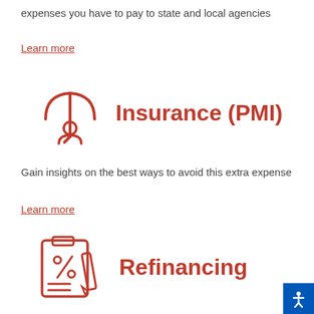expenses you have to pay to state and local agencies
Learn more
[Figure (illustration): Red outline icon of a person under an umbrella]
Insurance (PMI)
Gain insights on the best ways to avoid this extra expense
Learn more
[Figure (illustration): Red outline icon of a clipboard with percentage sign and a pen]
Refinancing